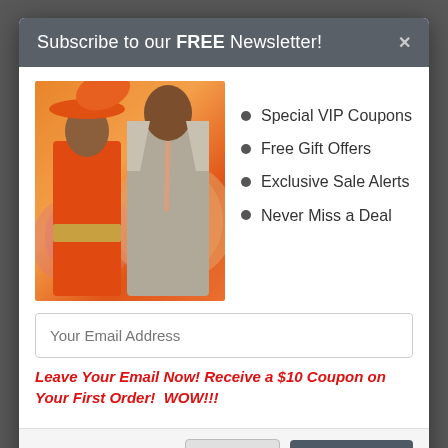Subscribe to our FREE Newsletter!
[Figure (photo): A woman wearing an orange dress and large orange hat with a man in a grey suit, posing together against a colorful background]
Special VIP Coupons
Free Gift Offers
Exclusive Sale Alerts
Never Miss a Deal
Your Email Address
Leave Your Email Now! Receive a $10 Coupon on Your First Order!  WOW!!!